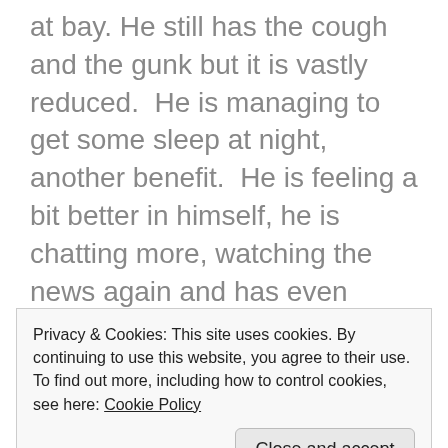at bay. He still has the cough and the gunk but it is vastly reduced.  He is managing to get some sleep at night, another benefit.  He is feeling a bit better in himself, he is chatting more, watching the news again and has even reached for his diary and prayer books.  These are all good signs of Dad feeling a little better in himself.
Mom bless her has been so supportive of him, caring for him, advising him and trying to help him in her own way.  Sometimes she has been very frightened when the cough and gunk has been in
Privacy & Cookies: This site uses cookies. By continuing to use this website, you agree to their use.
To find out more, including how to control cookies, see here: Cookie Policy
Close and accept
In the meantime, I have lots to share on the music